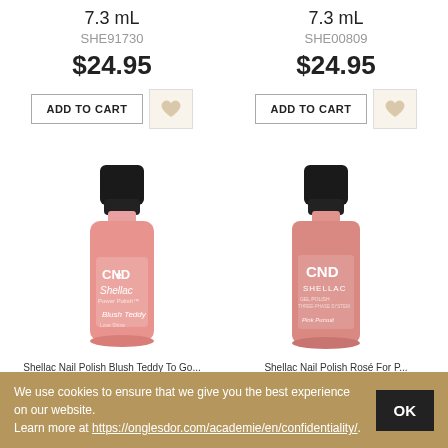7.3 mL
SHE91730
$24.95
ADD TO CART
7.3 mL
SHE00809
$24.95
ADD TO CART
[Figure (photo): CND Shellac nail polish bottle in pink (Blush Teddy), with black cap]
[Figure (photo): CND Shellac nail polish bottle in pink, with black cap]
Shellac Nail Polish Blush Teddy To Go...
Shellac Nail Polish Rosé For P...
We use cookies to ensure that we give you the best experience on our website.
Learn more at https://onglesdor.com/academie/en/confidentiality/.
OK